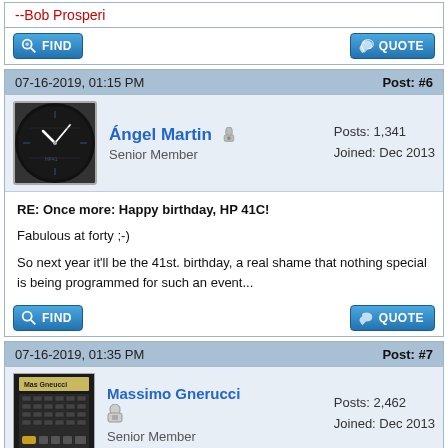--Bob Prosperi
FIND | QUOTE
07-16-2019, 01:15 PM    Post: #6
Ángel Martin  Senior Member  Posts: 1,341  Joined: Dec 2013
RE: Once more: Happy birthday, HP 41C!
Fabulous at forty ;-)
So next year it'll be the 41st. birthday, a real shame that nothing special is being programmed for such an event...
FIND | QUOTE
07-16-2019, 01:35 PM    Post: #7
Massimo Gnerucci  Senior Member  Posts: 2,462  Joined: Dec 2013
RE: Once more: Happy birthday, HP 41C!